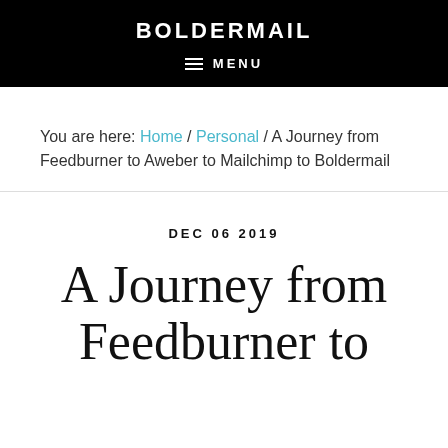BOLDERMAIL
≡ MENU
You are here: Home / Personal / A Journey from Feedburner to Aweber to Mailchimp to Boldermail
DEC 06 2019
A Journey from Feedburner to